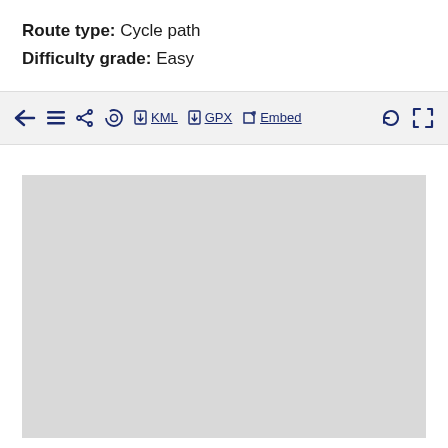Route type: Cycle path
Difficulty grade: Easy
[Figure (screenshot): Toolbar with navigation icons including back arrow, list, share, refresh, KML download, GPX download, Embed link, and fullscreen controls on a light grey background]
[Figure (map): Grey placeholder map area]